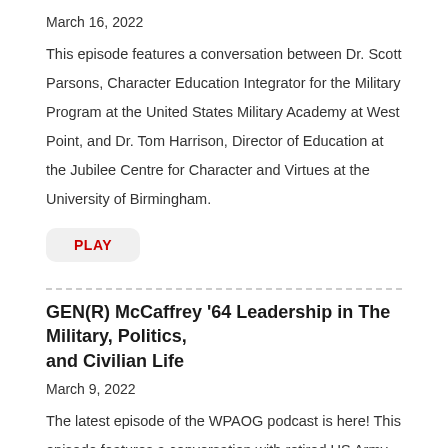March 16, 2022
This episode features a conversation between Dr. Scott Parsons, Character Education Integrator for the Military Program at the United States Military Academy at West Point, and Dr. Tom Harrison, Director of Education at the Jubilee Centre for Character and Virtues at the University of Birmingham.
PLAY
GEN(R) McCaffrey ’64 Leadership in The Military, Politics, and Civilian Life
March 9, 2022
The latest episode of the WPAOG podcast is here! This episode features a conversation with retired US Army Officer and current news commentator, GEN (R) Barry McCaffrey ’64. For his service in the military, McCaffrey was awarded three purple hearts, two silver stars, and two distinguished service crosses. In 2010, McCaffrey